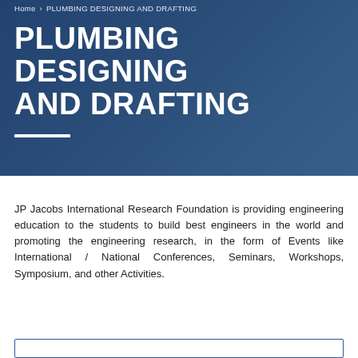Home > PLUMBING DESIGNING AND DRAFTING
PLUMBING DESIGNING AND DRAFTING
JP Jacobs International Research Foundation is providing engineering education to the students to build best engineers in the world and promoting the engineering research, in the form of Events like International / National Conferences, Seminars, Workshops, Symposium, and other Activities.
[Figure (other): Partial view of a bordered box at the bottom of the page]